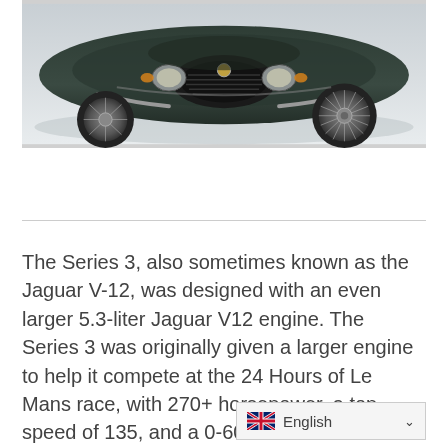[Figure (photo): Top-down/front view of a dark green classic Jaguar E-Type Series 3 sports car, showing the bonnet, headlights, and front wheel with wire wheel.]
The Series 3, also sometimes known as the Jaguar V-12, was designed with an even larger 5.3-liter Jaguar V12 engine. The Series 3 was originally given a larger engine to help it compete at the 24 Hours of Le Mans race, with 270+ horsepower, a top speed of 135, and a 0-60 time of 6.8 seconds the Series 3 became quite the competitors in speed world. The Series 3 combined an all new type of performance, with the driver focused style of the E series. a car that could compete off the track...